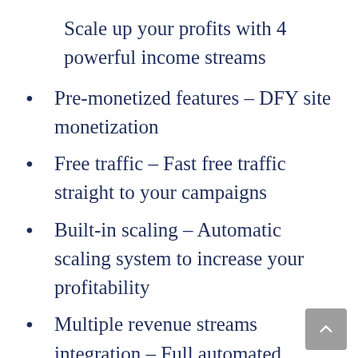Scale up your profits with 4 powerful income streams
Pre-monetized features – DFY site monetization
Free traffic – Fast free traffic straight to your campaigns
Built-in scaling – Automatic scaling system to increase your profitability
Multiple revenue streams integration – Full automated system to generate income